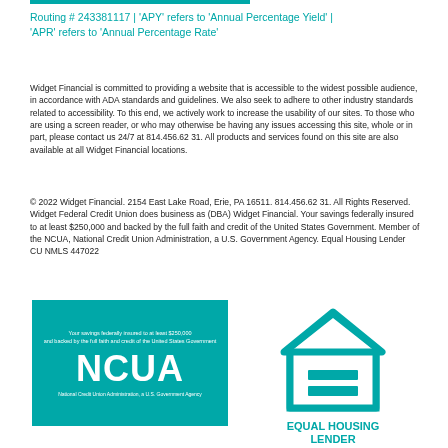Routing # 243381117 | 'APY' refers to 'Annual Percentage Yield' | 'APR' refers to 'Annual Percentage Rate'
Widget Financial is committed to providing a website that is accessible to the widest possible audience, in accordance with ADA standards and guidelines. We also seek to adhere to other industry standards related to accessibility. To this end, we actively work to increase the usability of our sites. To those who are using a screen reader, or who may otherwise be having any issues accessing this site, whole or in part, please contact us 24/7 at 814.456.62 31. All products and services found on this site are also available at all Widget Financial locations.
© 2022 Widget Financial. 2154 East Lake Road, Erie, PA 16511. 814.456.62 31. All Rights Reserved. Widget Federal Credit Union does business as (DBA) Widget Financial. Your savings federally insured to at least $250,000 and backed by the full faith and credit of the United States Government. Member of the NCUA, National Credit Union Administration, a U.S. Government Agency. Equal Housing Lender CU NMLS 447022
[Figure (logo): NCUA logo: teal background rectangle with white text 'Your savings federally insured to at least $250,000 and backed by the full faith and credit of the United States Government' at top, large white NCUA letters in center, 'National Credit Union Administration, a U.S. Government Agency' at bottom]
[Figure (logo): Equal Housing Lender logo: teal house outline with equal sign inside, text 'EQUAL HOUSING LENDER' below in teal]